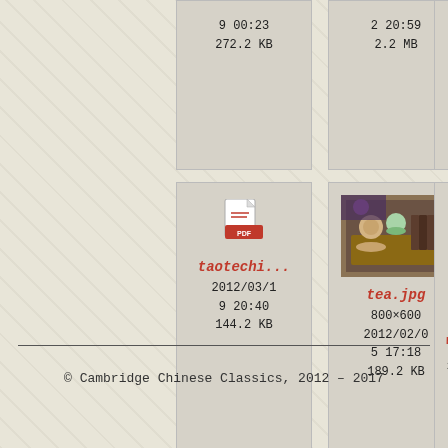[Figure (screenshot): File browser / gallery view showing file cards with thumbnails and metadata. Partial cards visible at top: center card shows time '9 00:23' and size '272.2 KB'; right card shows time '2 20:59' and size '2.2 MB'. Middle card shows a PDF icon, filename 'taotechi...', date '2012/03/19 20:40', size '144.2 KB'. Right card shows a photo of tea ceremony items, filename 'tea.jpg', dimensions '800×600', date '2012/02/05 17:18', size '189.2 KB'. A third card is partially visible at far right. Background is a decorative Chinese pattern.]
© Cambridge Chinese Classics, 2012 – 2017